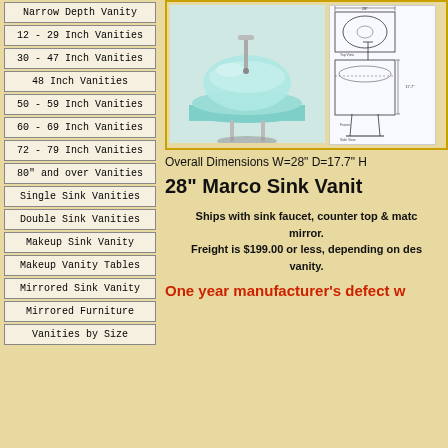Narrow Depth Vanity
12 - 29 Inch Vanities
30 - 47 Inch Vanities
48 Inch Vanities
50 - 59 Inch Vanities
60 - 69 Inch Vanities
72 - 79 Inch Vanities
80" and over Vanities
Single Sink Vanities
Double Sink Vanities
Makeup Sink Vanity
Makeup Vanity Tables
Mirrored Sink Vanity
Mirrored Furniture
Vanities by Size
[Figure (photo): Glass sink vanity with round frosted glass bowl on pedestal with chrome stand]
[Figure (engineering-diagram): Technical line drawing/blueprint of sink vanity dimensions]
Overall Dimensions W=28" D=17.7" H
28" Marco Sink Vanit
Ships with sink faucet, counter top & matching mirror. Freight is $199.00 or less, depending on destination of vanity.
One year manufacturer's defect w